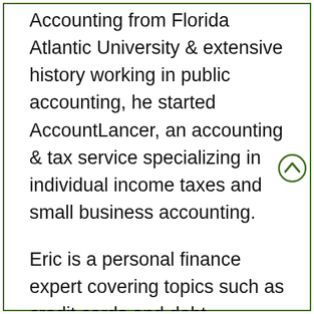Accounting from Florida Atlantic University & extensive history working in public accounting, he started AccountLancer, an accounting & tax service specializing in individual income taxes and small business accounting.
[Figure (other): A circular scroll-up navigation icon with a green border and upward-pointing chevron arrow, positioned at the right edge of the page.]
Eric is a personal finance expert covering topics such as credit cards and debt, individual income taxes,